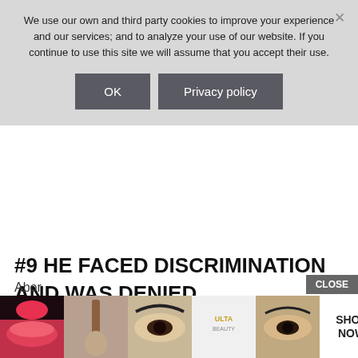We use our own and third party cookies to improve your experience and our services; and to analyze your use of our website. If you continue to use this site we will assume that you accept their use.
OK
Privacy policy
#9 HE FACED DISCRIMINATION AND WAS DENIED ACCOMMODATION DUE TO HIS RACE
Unaipon argued in favor of equal rights for black and white Australians and spread awareness a...
Abor... aker,
CLOSE
SHOP NOW